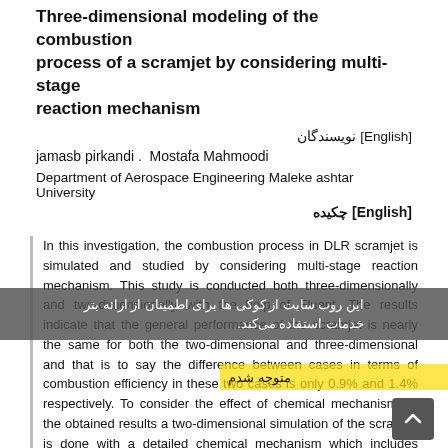Three-dimensional modeling of the combustion process of a scramjet by considering multi-stage reaction mechanism
نویسندگان [English]
jamasb pirkandi .  Mostafa Mahmoodi
Department of Aerospace Engineering Maleke ashtar University
چکیده [English]
In this investigation, the combustion process in DLR scramjet is simulated and studied by considering multi-stage reaction mechanism. This study is conducted both three-dimensionally and two-dimensionally with the help of Fluent. The results indicate that the general performance of the scramjet is nearly the same for both the two-dimensional and three-dimensional and that is to say the difference between cases in terms of combustion efficiency in these two cases is only 0.9% and 1.4% respectively. To consider the effect of chemical mechanism on the obtained results a two-dimensional simulation of the scramjet is done with a detailed chemical mechanism which includes reactions. The results illustrate that the general performance